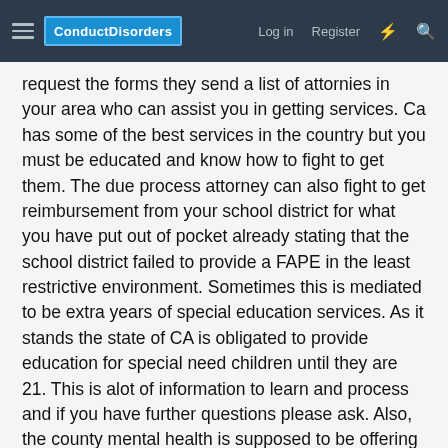ConductDisorders  Log in  Register
request the forms they send a list of attornies in your area who can assist you in getting services. Ca has some of the best services in the country but you must be educated and know how to fight to get them. The due process attorney can also fight to get reimbursement from your school district for what you have put out of pocket already stating that the school district failed to provide a FAPE in the least restrictive environment. Sometimes this is mediated to be extra years of special education services. As it stands the state of CA is obligated to provide education for special need children until they are 21. This is alot of information to learn and process and if you have further questions please ask. Also, the county mental health is supposed to be offering you wrap around services to prevent your child from ever getting to the Residential Treatment Center (RTC) stage and this is another whole complex of services. Do not worry as they say, just get busy-lol. Jerri's Parent Report was pivotal in getting my son placed in residential treatment. If you want to